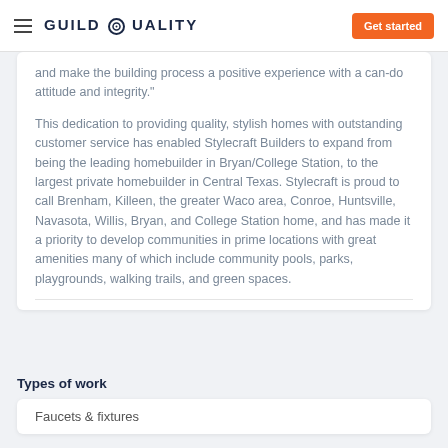GuildQuality — Get started
and make the building process a positive experience with a can-do attitude and integrity."
This dedication to providing quality, stylish homes with outstanding customer service has enabled Stylecraft Builders to expand from being the leading homebuilder in Bryan/College Station, to the largest private homebuilder in Central Texas. Stylecraft is proud to call Brenham, Killeen, the greater Waco area, Conroe, Huntsville, Navasota, Willis, Bryan, and College Station home, and has made it a priority to develop communities in prime locations with great amenities many of which include community pools, parks, playgrounds, walking trails, and green spaces.
Types of work
Faucets & fixtures